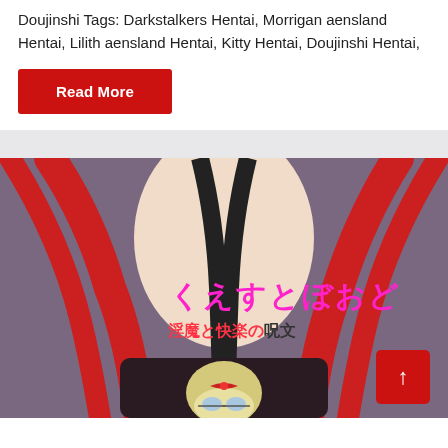Doujinshi Tags: Darkstalkers Hentai, Morrigan aensland Hentai, Lilith aensland Hentai, Kitty Hentai, Doujinshi Hentai,
Read More
[Figure (illustration): Anime/manga style illustration of a character with Japanese text overlay reading くえすとぼおど and 淫魔と快楽の呪文, featuring a character with blonde hair and red bow, and stylized female figure with red costume elements against purple background. Red scroll-to-top button in bottom right corner.]